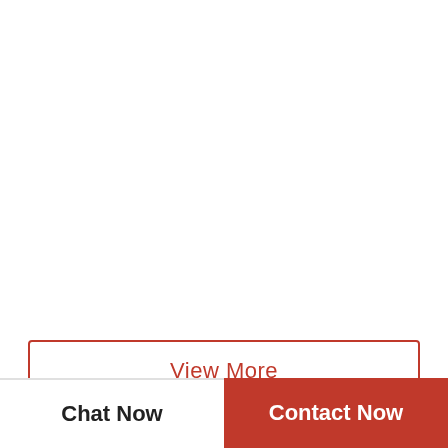View More
Company Profile
Hunan C&L Trade Co., Ltd.
Business Type    Manufacturer
Chat Now
Contact Now